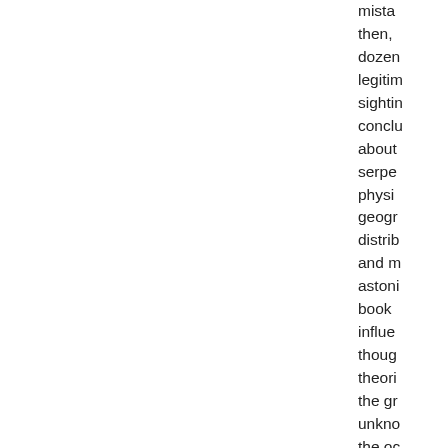mista then, dozen legitim sightin conclu about serpe physi geogr distrib and m astoni book influe thoug theori the gr unkno the oc says crypto Loren Colem